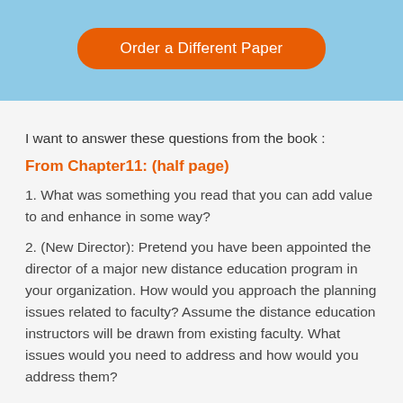[Figure (other): Light blue banner with an orange rounded button labeled 'Order a Different Paper']
I want to answer these questions from the book :
From Chapter11: (half page)
1. What was something you read that you can add value to and enhance in some way?
2. (New Director): Pretend you have been appointed the director of a major new distance education program in your organization. How would you approach the planning issues related to faculty? Assume the distance education instructors will be drawn from existing faculty. What issues would you need to address and how would you address them?